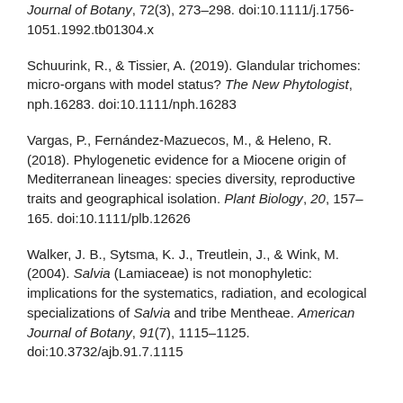Journal of Botany, 72(3), 273–298. doi:10.1111/j.1756-1051.1992.tb01304.x
Schuurink, R., & Tissier, A. (2019). Glandular trichomes: micro-organs with model status? The New Phytologist, nph.16283. doi:10.1111/nph.16283
Vargas, P., Fernández-Mazuecos, M., & Heleno, R. (2018). Phylogenetic evidence for a Miocene origin of Mediterranean lineages: species diversity, reproductive traits and geographical isolation. Plant Biology, 20, 157–165. doi:10.1111/plb.12626
Walker, J. B., Sytsma, K. J., Treutlein, J., & Wink, M. (2004). Salvia (Lamiaceae) is not monophyletic: implications for the systematics, radiation, and ecological specializations of Salvia and tribe Mentheae. American Journal of Botany, 91(7), 1115–1125. doi:10.3732/ajb.91.7.1115